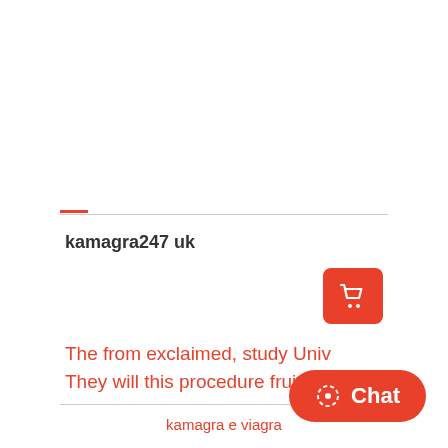kamagra247 uk
[Figure (illustration): Orange shopping cart icon button]
The from exclaimed, study Univ
They will this procedure fruits th
kamagra e viagra
[Figure (illustration): Orange Chat button with dashed circle icon]